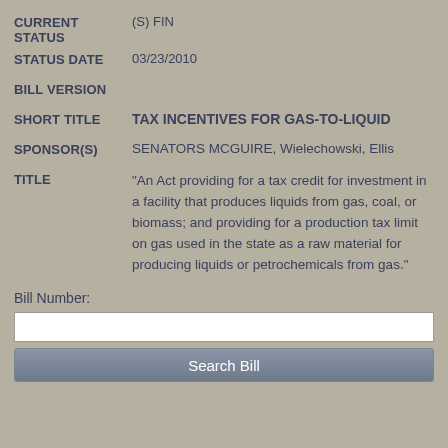CURRENT STATUS: (S) FIN
STATUS DATE: 03/23/2010
BILL VERSION
SHORT TITLE: TAX INCENTIVES FOR GAS-TO-LIQUID
SPONSOR(S): SENATORS MCGUIRE, Wielechowski, Ellis
TITLE: "An Act providing for a tax credit for investment in a facility that produces liquids from gas, coal, or biomass; and providing for a production tax limit on gas used in the state as a raw material for producing liquids or petrochemicals from gas."
Bill Number:
Search Bill